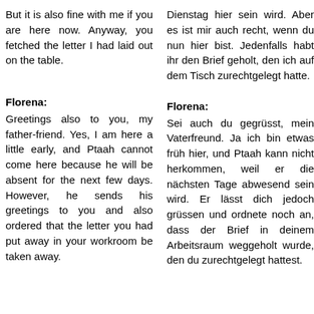But it is also fine with me if you are here now. Anyway, you fetched the letter I had laid out on the table.
Dienstag hier sein wird. Aber es ist mir auch recht, wenn du nun hier bist. Jedenfalls habt ihr den Brief geholt, den ich auf dem Tisch zurechtgelegt hatte.
Florena:
Greetings also to you, my father-friend. Yes, I am here a little early, and Ptaah cannot come here because he will be absent for the next few days. However, he sends his greetings to you and also ordered that the letter you had put away in your workroom be taken away.
Florena:
Sei auch du gegrüsst, mein Vaterfreund. Ja ich bin etwas früh hier, und Ptaah kann nicht herkommen, weil er die nächsten Tage abwesend sein wird. Er lässt dich jedoch grüssen und ordnete noch an, dass der Brief in deinem Arbeitsraum weggeholt wurde, den du zurechtgelegt hattest.